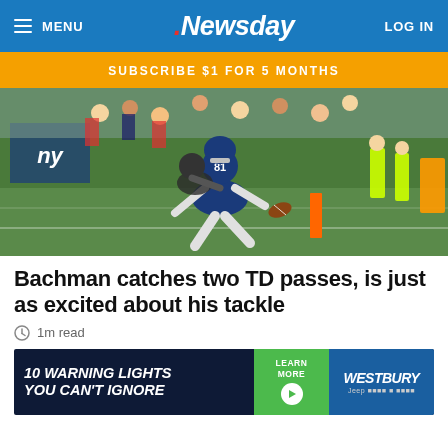MENU | Newsday | LOG IN
SUBSCRIBE $1 FOR 5 MONTHS
[Figure (photo): NFL player wearing New York Giants uniform #81 diving to catch a touchdown pass near the end zone pylon, with an opposing defender attempting to tackle, crowd and sideline staff visible in background]
Bachman catches two TD passes, is just as excited about his tackle
1m read
[Figure (photo): Advertisement banner: 10 WARNING LIGHTS YOU CAN'T IGNORE — Learn More — Westbury Jeep dealership ad]